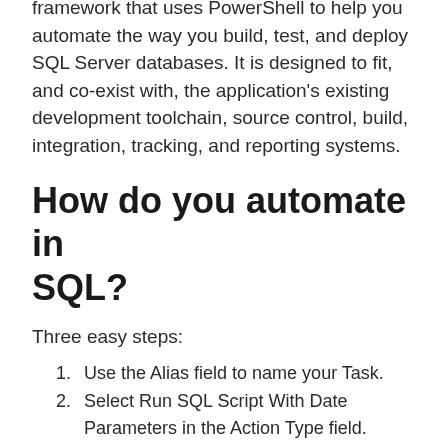framework that uses PowerShell to help you automate the way you build, test, and deploy SQL Server databases. It is designed to fit, and co-exist with, the application's existing development toolchain, source control, build, integration, tracking, and reporting systems.
How do you automate in SQL?
Three easy steps:
Use the Alias field to name your Task.
Select Run SQL Script With Date Parameters in the Action Type field.
Use the Target Database Connection